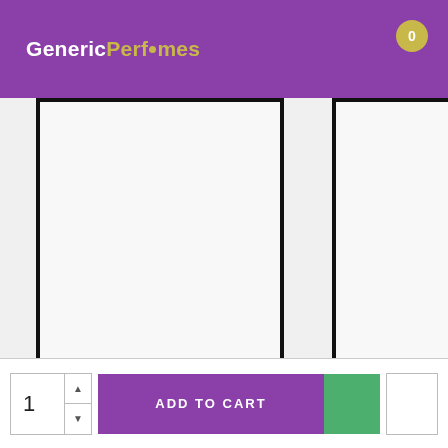GenericPerfumes
[Figure (screenshot): E-commerce product listing page showing perfume products. Two visible product cards each with a white product image box with black border, olive/purple/olive button row, product title in purple, and price in purple. Partial third card visible on right. Carousel dots below. Purple header with GenericPerfumes logo.]
Shaik – Chik Blue Eau Per... $29.99
Escada – Collection for W... $29.99
S... $...
1
ADD TO CART